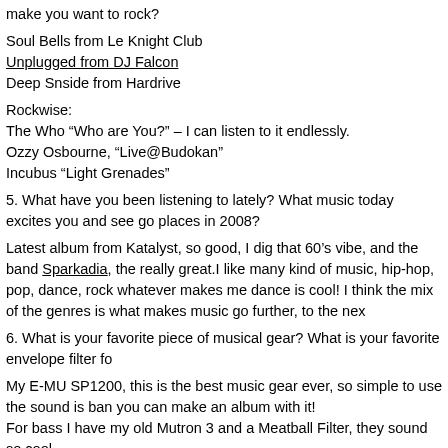make you want to rock?
Soul Bells from Le Knight Club
Unplugged from DJ Falcon
Deep Snside from Hardrive
Rockwise:
The Who “Who are You?” – I can listen to it endlessly.
Ozzy Osbourne, “Live@Budokan”
Incubus “Light Grenades”
5. What have you been listening to lately? What music today excites you and see go places in 2008?
Latest album from Katalyst, so good, I dig that 60’s vibe, and the band Sparkadia, the really great.I like many kind of music, hip-hop, pop, dance, rock whatever makes me dance is cool! I think the mix of the genres is what makes music go further, to the nex
6. What is your favorite piece of musical gear? What is your favorite envelope filter fo
My E-MU SP1200, this is the best music gear ever, so simple to use the sound is ban you can make an album with it!
For bass I have my old Mutron 3 and a Meatball Filter, they sound so cool.
7. Any plans of starting an all-star electronic “band” like Steve Aoki, The Faint & Boys It would be impressive to see all of you DJ’s and producers “rock out”. Maybe a big collaboration with Alan Braxe, Kris Menace and some your other dance colleagues is works? Any big releases or exciting news you would like to share? When are you cor the states?